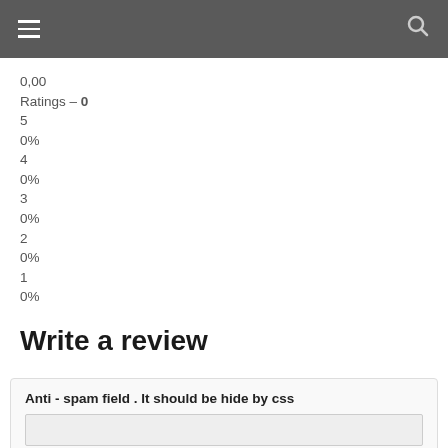≡  🔍
0,00
Ratings – 0
5
0%
4
0%
3
0%
2
0%
1
0%
Write a review
Anti - spam field . It should be hide by css